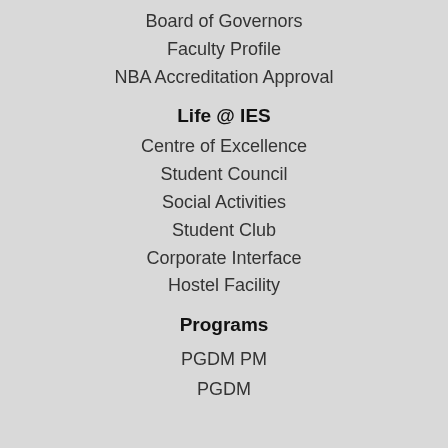Board of Governors
Faculty Profile
NBA Accreditation Approval
Life @ IES
Centre of Excellence
Student Council
Social Activities
Student Club
Corporate Interface
Hostel Facility
Programs
PGDM PM
PGDM